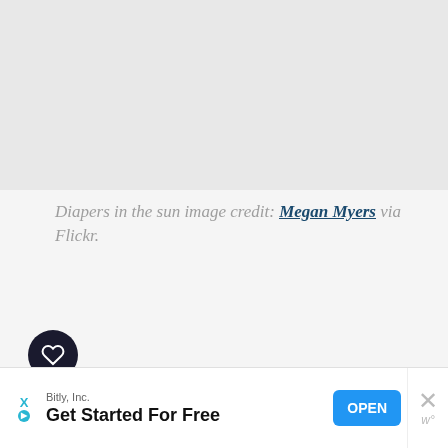[Figure (photo): Gray placeholder area for a photo (diapers in the sun image)]
Diapers in the sun image credit: Megan Myers via Flickr.
[Figure (screenshot): Social sharing buttons row: like button (heart icon, dark circle), share count badge showing 395, share icon button, then social buttons for Facebook (f), Twitter (bird), StumbleUpon (m), Reddit (alien). Right side shows share icon with 394 SHARES.]
[Figure (screenshot): What's Next banner in teal: WHAT'S NEXT arrow, Buttons Cloth Diaper Review, with small circular image]
[Figure (screenshot): Advertisement banner: Bitly, Inc. Get Started For Free. OPEN button in blue. X close button and w logo on right.]